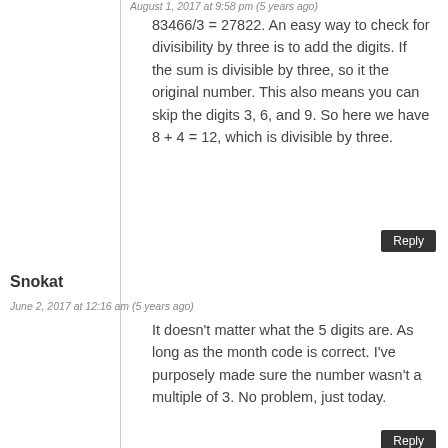August 1, 2017 at 9:58 pm (5 years ago)
83466/3 = 27822. An easy way to check for divisibility by three is to add the digits. If the sum is divisible by three, so it the original number. This also means you can skip the digits 3, 6, and 9. So here we have 8 + 4 = 12, which is divisible by three.
Reply
Snokat
June 2, 2017 at 12:16 am (5 years ago)
It doesn't matter what the 5 digits are. As long as the month code is correct. I've purposely made sure the number wasn't a multiple of 3. No problem, just today.
Reply